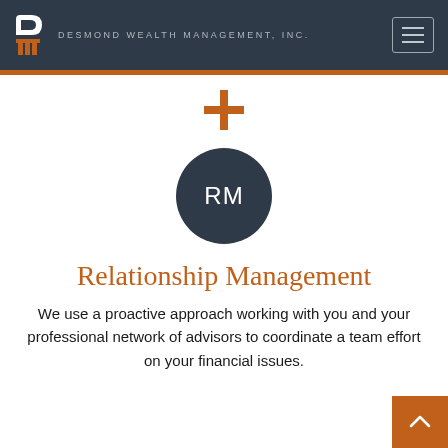DESMOND WEALTH MANAGEMENT, INC.
[Figure (logo): Orange plus/cross icon]
[Figure (illustration): Dark navy circle with white initials RM]
Relationship Management
We use a proactive approach working with you and your professional network of advisors to coordinate a team effort on your financial issues.